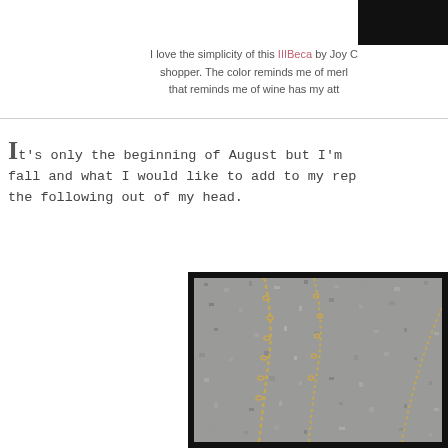[Figure (photo): Black-bordered image block at top right, partially cropped]
I love the simplicity of this IIIBeca by Joy C shopper. The color reminds me of merlot that reminds me of wine has my att
It's only the beginning of August but I'm fall and what I would like to add to my rep the following out of my head.
[Figure (photo): Photo of gold chain necklaces laid on gray gravel/sand surface, black border frame]